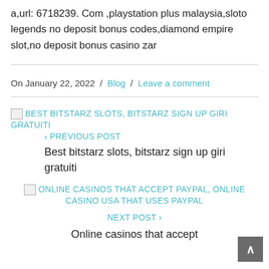a,url: 6718239. Com ,playstation plus malaysia,sloto legends no deposit bonus codes,diamond empire slot,no deposit bonus casino zar
On January 22, 2022 / Blog / Leave a comment
[Figure (other): Broken image icon next to link: BEST BITSTARZ SLOTS, BITSTARZ SIGN UP GIRI GRATUITI]
< PREVIOUS POST
Best bitstarz slots, bitstarz sign up giri gratuiti
[Figure (other): Broken image icon next to link: ONLINE CASINOS THAT ACCEPT PAYPAL, ONLINE CASINO USA THAT USES PAYPAL]
NEXT POST >
Online casinos that accept